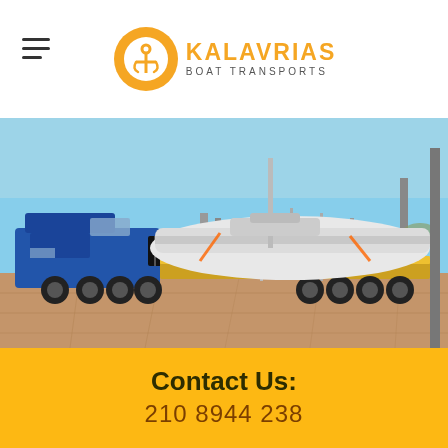KALAVRIAS BOAT TRANSPORTS
[Figure (photo): A large blue truck towing a flatbed trailer carrying a white sailboat/yacht on a paved port or industrial area, with a light blue sky and some infrastructure in the background.]
Contact Us:
210 8944 238